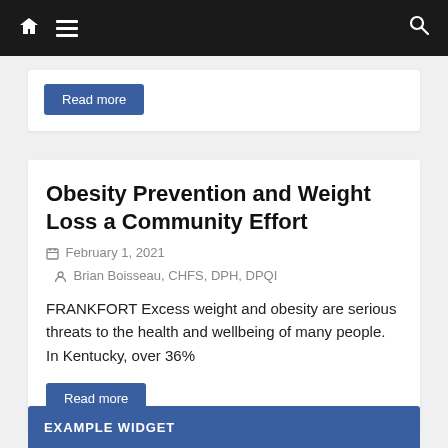Navigation bar with home icon, menu, and search
Read more
Obesity Prevention and Weight Loss a Community Effort
February 1, 2021  Brian Boisseau, CHFS, DPH, DPQI
FRANKFORT Excess weight and obesity are serious threats to the health and wellbeing of many people. In Kentucky, over 36%
Read more
EXAMPLE WIDGET